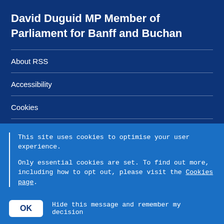David Duguid MP Member of Parliament for Banff and Buchan
About RSS
Accessibility
Cookies
Privacy
This site uses cookies to optimise your user experience.

Only essential cookies are set. To find out more, including how to opt out, please visit the Cookies page.
OK   Hide this message and remember my decision